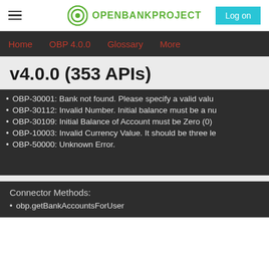OPENBANKPROJECT — Log on
Home | OBP 4.0.0 | Glossary | More
v4.0.0 (353 APIs)
OBP-30001: Bank not found. Please specify a valid valu
OBP-30112: Invalid Number. Initial balance must be a nu
OBP-30109: Initial Balance of Account must be Zero (0)
OBP-10003: Invalid Currency Value. It should be three le
OBP-50000: Unknown Error.
Connector Methods:
obp.getBankAccountsForUser